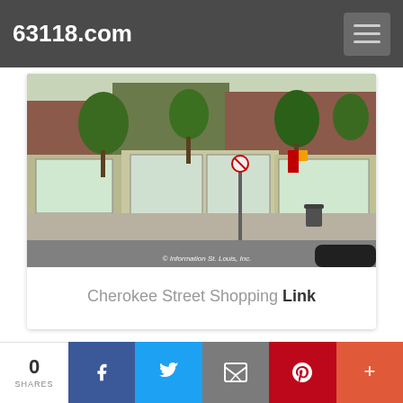63118.com
[Figure (photo): Street-level photo of Cherokee Street shopping district in St. Louis. Brick storefronts with large display windows, trees, a no-turn traffic sign, and a sidewalk. Watermark reads '© Information St. Louis, Inc.']
Cherokee Street Shopping Link
0 SHARES
Facebook share button
Twitter share button
Email share button
Pinterest share button
More share button